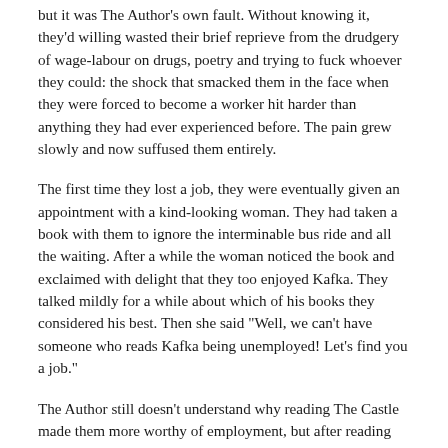but it was The Author's own fault. Without knowing it, they'd willing wasted their brief reprieve from the drudgery of wage-labour on drugs, poetry and trying to fuck whoever they could: the shock that smacked them in the face when they were forced to become a worker hit harder than anything they had ever experienced before. The pain grew slowly and now suffused them entirely.
The first time they lost a job, they were eventually given an appointment with a kind-looking woman. They had taken a book with them to ignore the interminable bus ride and all the waiting. After a while the woman noticed the book and exclaimed with delight that they too enjoyed Kafka. They talked mildly for a while about which of his books they considered his best. Then she said "Well, we can't have someone who reads Kafka being unemployed! Let's find you a job."
The Author still doesn't understand why reading The Castle made them more worthy of employment, but after reading the novel a second time they knew that they had